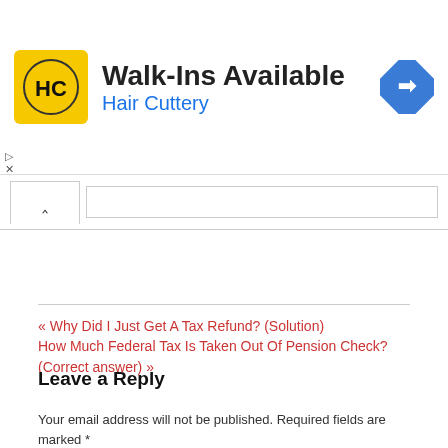[Figure (infographic): Hair Cuttery advertisement banner: Walk-Ins Available with HC logo and blue diamond arrow icon]
[Figure (infographic): Navigation bar with caret up symbol and USEFUL red button]
« Why Did I Just Get A Tax Refund? (Solution)
How Much Federal Tax Is Taken Out Of Pension Check? (Correct answer) »
Leave a Reply
Your email address will not be published. Required fields are marked *